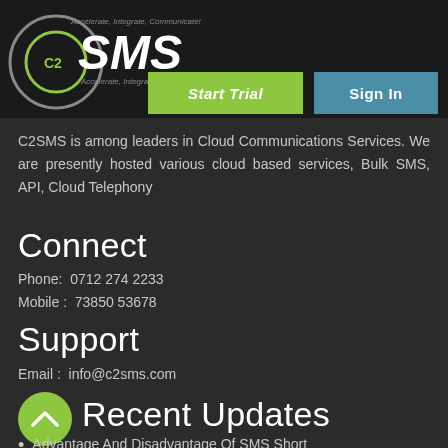[Figure (logo): C2SMS logo with circular C2 icon and SMS text, tagline Accelerate, Integrate, Communicate!]
[Figure (screenshot): Start Trial button (green) and Sign In button (blue)]
C2SMS is among leaders in Cloud Communications Services. We are presently hosted various cloud based services, Bulk SMS, API, Cloud Telephony
Connect
Phone:  0712 274 2233
Mobile :  73850 53678
Support
Email :  info@c2sms.com
Recent Updates
Advantage And Disadvantage Of SMS Short